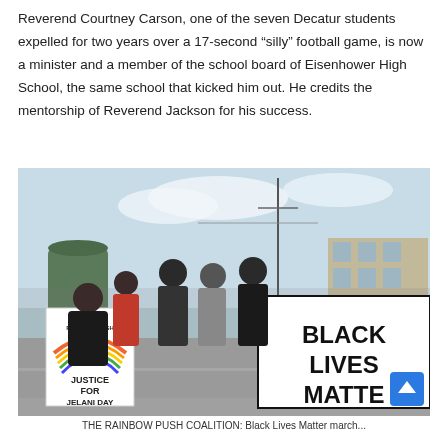Reverend Courtney Carson, one of the seven Decatur students expelled for two years over a 17-second “silly” football game, is now a minister and a member of the school board of Eisenhower High School, the same school that kicked him out. He credits the mentorship of Reverend Jackson for his success.
[Figure (photo): A crowd of protesters marching on a street. On the left, a person holds a Rainbow PUSH Coalition sign reading 'JUSTICE FOR JELANI DAY'. On the right, protesters carry a large banner reading 'BLACK LIVES MATTER'. A blue scroll-to-top button is visible in the lower right corner of the image.]
THE RAINBOW PUSH COALITION: Black Lives Matter march...